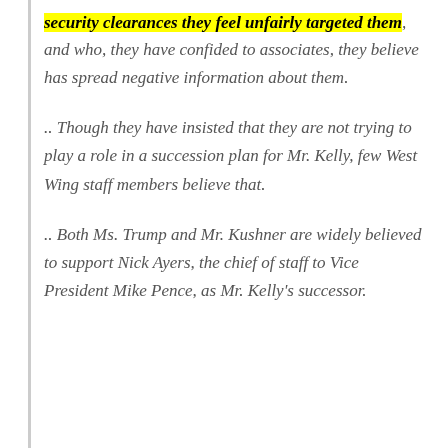security clearances they feel unfairly targeted them, and who, they have confided to associates, they believe has spread negative information about them.
.. Though they have insisted that they are not trying to play a role in a succession plan for Mr. Kelly, few West Wing staff members believe that.
.. Both Ms. Trump and Mr. Kushner are widely believed to support Nick Ayers, the chief of staff to Vice President Mike Pence, as Mr. Kelly's successor.